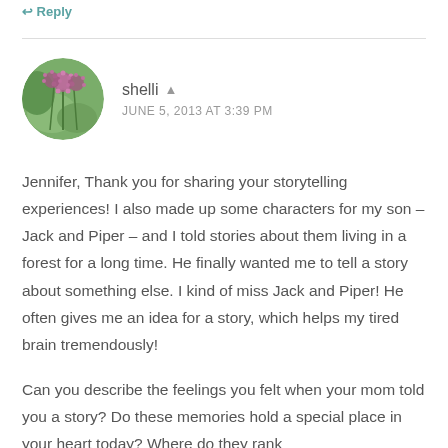Reply
[Figure (photo): Circular avatar photo of wildflowers with purple blooms on green stems against a soft green background]
shelli
JUNE 5, 2013 AT 3:39 PM
Jennifer, Thank you for sharing your storytelling experiences! I also made up some characters for my son – Jack and Piper – and I told stories about them living in a forest for a long time. He finally wanted me to tell a story about something else. I kind of miss Jack and Piper! He often gives me an idea for a story, which helps my tired brain tremendously!
Can you describe the feelings you felt when your mom told you a story? Do these memories hold a special place in your heart today? Where do they rank